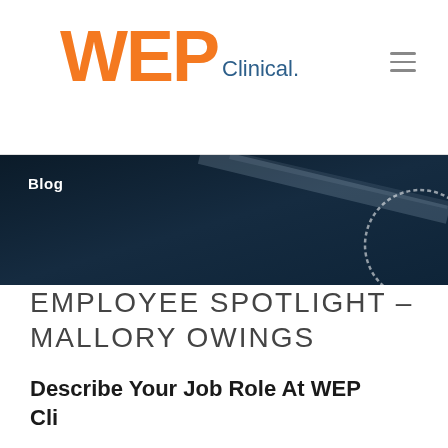[Figure (logo): WEP Clinical logo with orange WEP text and blue Clinical text]
[Figure (photo): Dark blue/navy banner image with diagonal light streaks and chalk circle drawing, with Blog label overlay]
EMPLOYEE SPOTLIGHT – MALLORY OWINGS
Describe Your Job Role At WEP Clinical